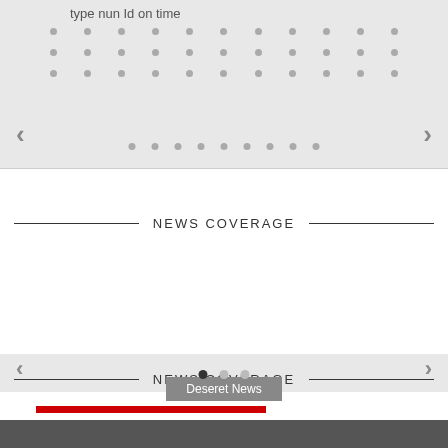[Figure (screenshot): Top carousel area with dot grid navigation and left/right arrows, partially showing text 'type nun Id on time']
NEWS COVERAGE
[Figure (screenshot): News coverage card from Deseret News showing article: 'Doctor on vaping illness: It's scary to see a young person this sick', dated Oct 10, 2019, with red accent bar and carousel navigation dots]
Deseret News
Doctor on vaping illness: 'It's scary to see a young person this sick'
Oct 10, 2019